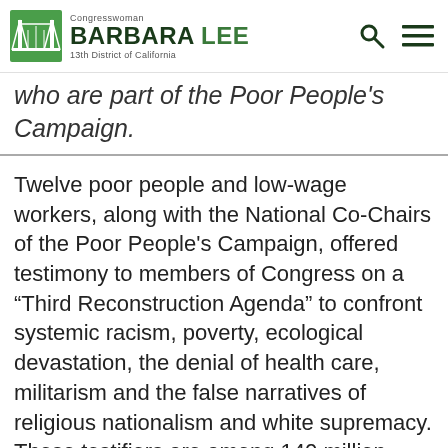Congresswoman BARBARA LEE 13th District of California
who are part of the Poor People's Campaign.
Twelve poor people and low-wage workers, along with the National Co-Chairs of the Poor People's Campaign, offered testimony to members of Congress on a “Third Reconstruction Agenda” to confront systemic racism, poverty, ecological devastation, the denial of health care, militarism and the false narratives of religious nationalism and white supremacy. These testifiers are among 140 million people who are poor or low-income living in the US, accounting for over 40